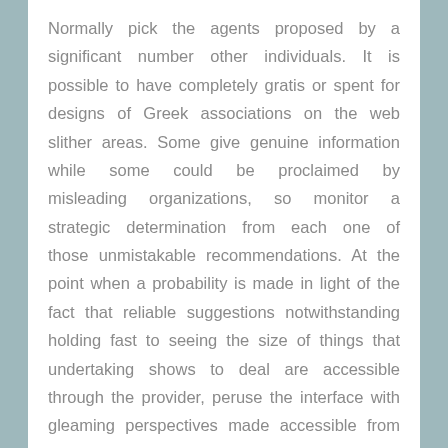Normally pick the agents proposed by a significant number other individuals. It is possible to have completely gratis or spent for designs of Greek associations on the web slither areas. Some give genuine information while some could be proclaimed by misleading organizations, so monitor a strategic determination from each one of those unmistakable recommendations. At the point when a probability is made in light of the fact that reliable suggestions notwithstanding holding fast to seeing the size of things that undertaking shows to deal are accessible through the provider, peruse the interface with gleaming perspectives made accessible from the supplier. Pertinent connect with subtleties, for instance, telephone number, email address alongside conveyance data need to come on the company's site. Avoid practically any supplier with wrong or with no contact